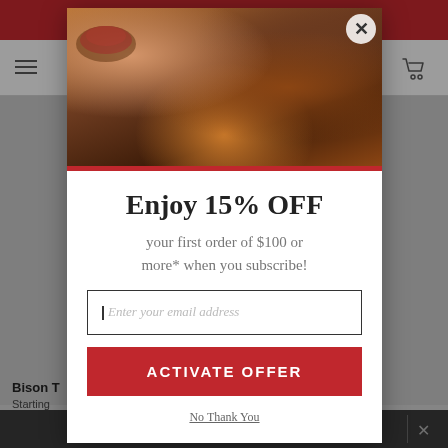H ... RK
[Figure (photo): Background screenshot of an e-commerce website showing bison meat products with navigation bar]
[Figure (photo): Popup modal with a food image showing sliced smoked brisket on a cutting board with sauce, pickles, and onions]
Enjoy 15% OFF
your first order of $100 or more* when you subscribe!
Enter your email address
ACTIVATE OFFER
No Thank You